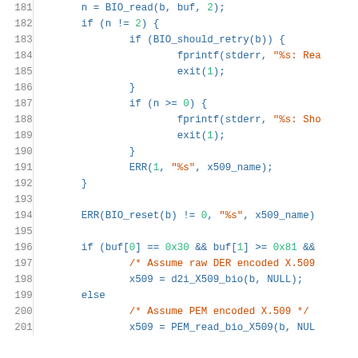[Figure (screenshot): Source code listing in C (lines 181-201) with syntax highlighting. Keywords in blue, strings/comments in orange-red, numeric literals in green, on white background with gray line numbers.]